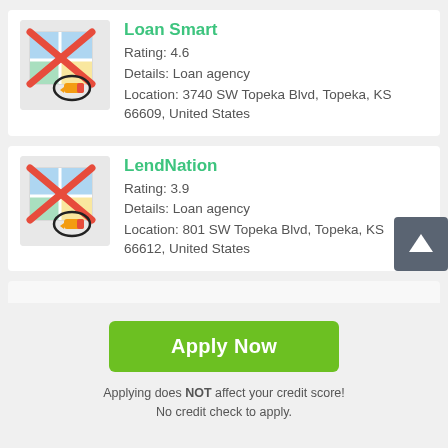[Figure (screenshot): App listing card for Loan Smart: map icon with red X and pencil overlay]
Loan Smart
Rating: 4.6
Details: Loan agency
Location: 3740 SW Topeka Blvd, Topeka, KS 66609, United States
[Figure (screenshot): App listing card for LendNation: map icon with red X and pencil overlay]
LendNation
Rating: 3.9
Details: Loan agency
Location: 801 SW Topeka Blvd, Topeka, KS 66612, United States
[Figure (other): Green Apply Now button]
Applying does NOT affect your credit score!
No credit check to apply.